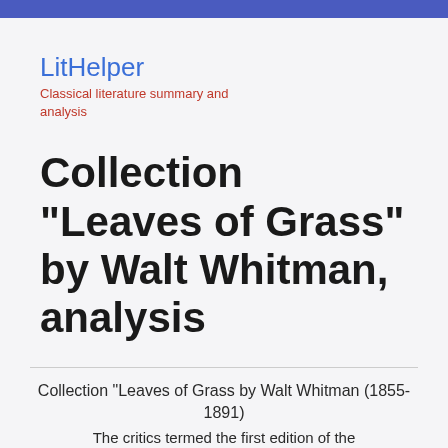LitHelper
Classical literature summary and analysis
Collection “Leaves of Grass” by Walt Whitman, analysis
Collection “Leaves of Grass by Walt Whitman (1855-1891)
The critics termed the first edition of the